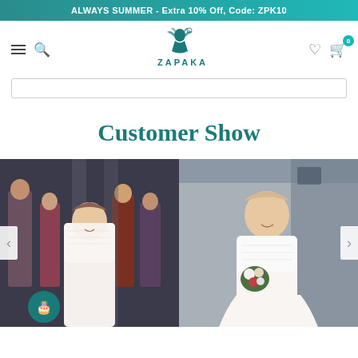ALWAYS SUMMER - Extra 10% Off, Code: ZPK10
[Figure (logo): Zapaka brand logo with teal woman silhouette and ZAPAKA text]
Customer Show
[Figure (photo): Left photo: Young woman in white lace dress smiling with group of people in background. Right photo: Woman in white lace wedding dress holding a bouquet of flowers outdoors against stone wall.]